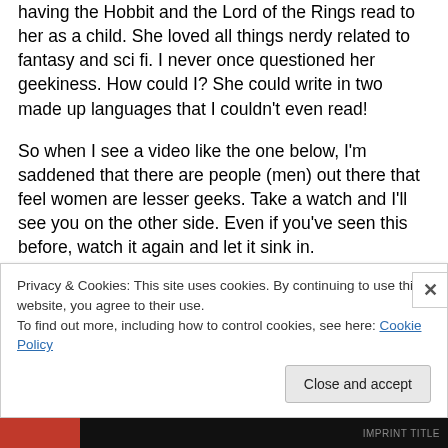having the Hobbit and the Lord of the Rings read to her as a child. She loved all things nerdy related to fantasy and sci fi. I never once questioned her geekiness. How could I? She could write in two made up languages that I couldn't even read!
So when I see a video like the one below, I'm saddened that there are people (men) out there that feel women are lesser geeks. Take a watch and I'll see you on the other side. Even if you've seen this before, watch it again and let it sink in.
Privacy & Cookies: This site uses cookies. By continuing to use this website, you agree to their use.
To find out more, including how to control cookies, see here: Cookie Policy